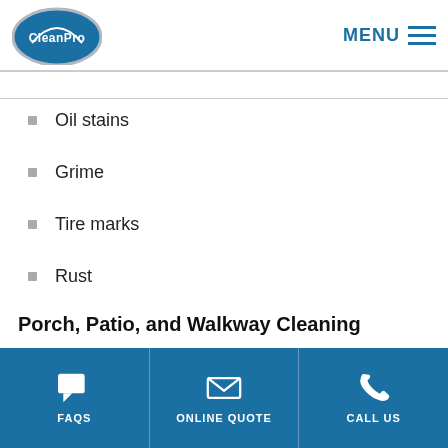CleanPro | MENU
Oil stains
Grime
Tire marks
Rust
Hard water stains
Debris
Other foreign substances
Porch, Patio, and Walkway Cleaning
FAQS | ONLINE QUOTE | CALL US